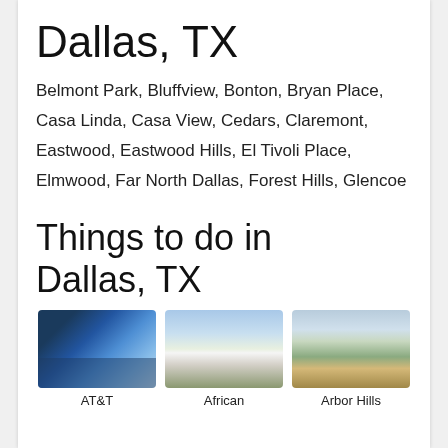Dallas, TX
Belmont Park, Bluffview, Bonton, Bryan Place, Casa Linda, Casa View, Cedars, Claremont, Eastwood, Eastwood Hills, El Tivoli Place, Elmwood, Far North Dallas, Forest Hills, Glencoe
Things to do in Dallas, TX
[Figure (photo): Photo of AT&T Stadium interior with blue metallic architecture]
[Figure (photo): Photo of African museum building exterior with green lawn]
[Figure (photo): Photo of Arbor Hills boardwalk path]
AT&T
African
Arbor Hills